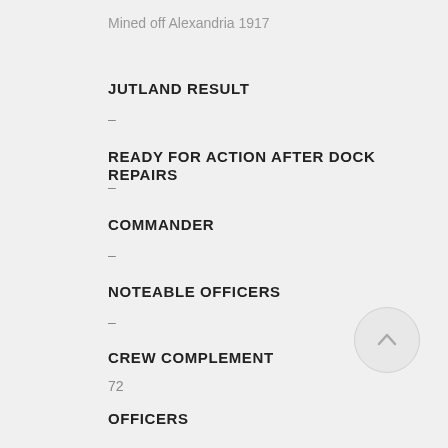Mined off Alexandria 1917
JUTLAND RESULT
–
READY FOR ACTION AFTER DOCK REPAIRS
–
COMMANDER
–
NOTEABLE OFFICERS
–
CREW COMPLEMENT
72
OFFICERS
–
RATINGS